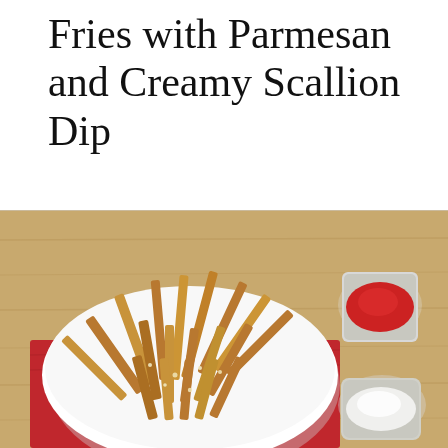Fries with Parmesan and Creamy Scallion Dip
[Figure (photo): Overhead photo of crispy parmesan-coated french fries in a white bowl on a wooden cutting board with a red cloth napkin, accompanied by a small glass bowl of ketchup and a small glass bowl of creamy white scallion dip, on a bamboo wood surface.]